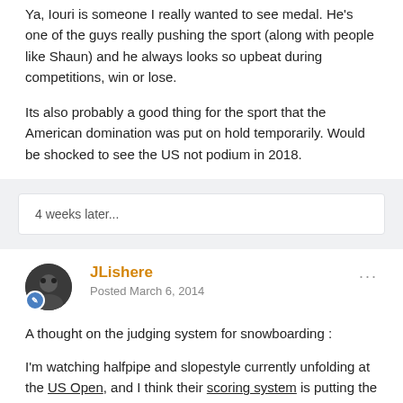Ya, Iouri is someone I really wanted to see medal. He's one of the guys really pushing the sport (along with people like Shaun) and he always looks so upbeat during competitions, win or lose.
Its also probably a good thing for the sport that the American domination was put on hold temporarily. Would be shocked to see the US not podium in 2018.
4 weeks later...
JLishere
Posted March 6, 2014
A thought on the judging system for snowboarding :
I'm watching halfpipe and slopestyle currently unfolding at the US Open, and I think their scoring system is putting the Olympics to shame - especially in slopestyle.
Here's why :